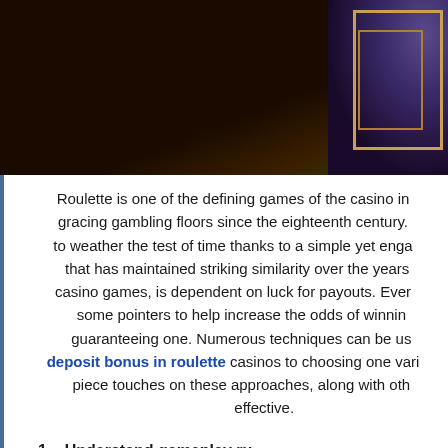[Figure (photo): Casino roulette table scene with dark background, golden/wooden box frame on the right side with a purple/blue glowing ball]
Roulette is one of the defining games of the casino in gracing gambling floors since the eighteenth century. to weather the test of time thanks to a simple yet enga that has maintained striking similarity over the years casino games, is dependent on luck for payouts. Ever some pointers to help increase the odds of winnin guaranteeing one. Numerous techniques can be us deposit bonus in roulette casinos to choosing one vari piece touches on these approaches, along with oth effective.
1. Understand gameplay ru